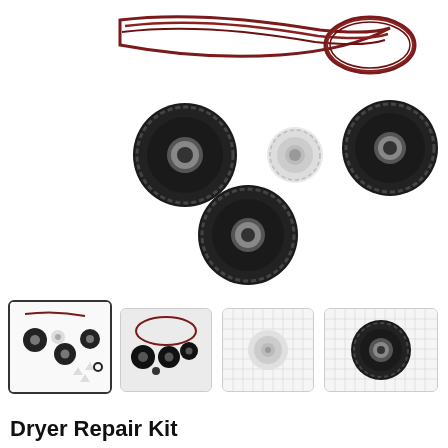[Figure (photo): Main product photo of a Dryer Repair Kit showing drive belt (red/maroon color), two large black drum support rollers with bearings, one smaller white idler pulley, one medium black roller, and several small white triangular pads and one small black O-ring, all arranged on a white background.]
[Figure (photo): Thumbnail 1 (selected/highlighted): small image of the full kit showing belt, rollers, pulley, and small parts on white background.]
[Figure (photo): Thumbnail 2: small image of the kit components (rollers and belt) on dark/black background.]
[Figure (photo): Thumbnail 3: small image of the white idler pulley on a grid/graph paper background.]
[Figure (photo): Thumbnail 4: small image of one large black drum roller on a grid/graph paper background.]
Dryer Repair Kit